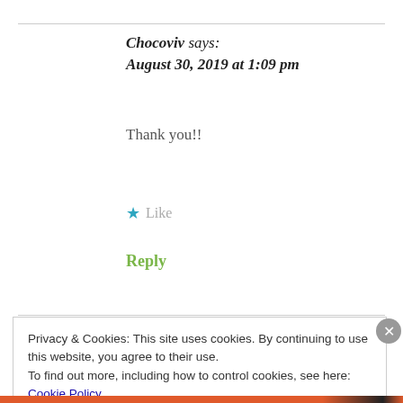Chocoviv says:
August 30, 2019 at 1:09 pm
Thank you!!
★ Like
Reply
Privacy & Cookies: This site uses cookies. By continuing to use this website, you agree to their use.
To find out more, including how to control cookies, see here: Cookie Policy
Close and accept